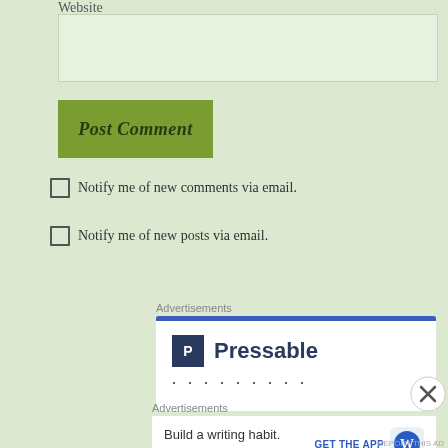Website
Post Comment
Notify me of new comments via email.
Notify me of new posts via email.
Advertisements
[Figure (logo): Pressable advertisement with blue header bar, P icon and Pressable logo text, followed by dots]
Advertisements
[Figure (screenshot): WordPress app advertisement: Build a writing habit. Post on the go. GET THE APP with WordPress icon]